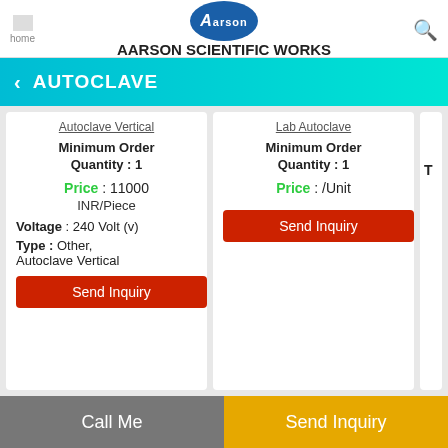home | AARSON SCIENTIFIC WORKS
AUTOCLAVE
Autoclave Vertical
Minimum Order Quantity : 1
Price : 11000 INR/Piece
Voltage : 240 Volt (v)
Type : Other, Autoclave Vertical
Send Inquiry
Lab Autoclave
Minimum Order Quantity : 1
Price : /Unit
Send Inquiry
Call Me | Send Inquiry